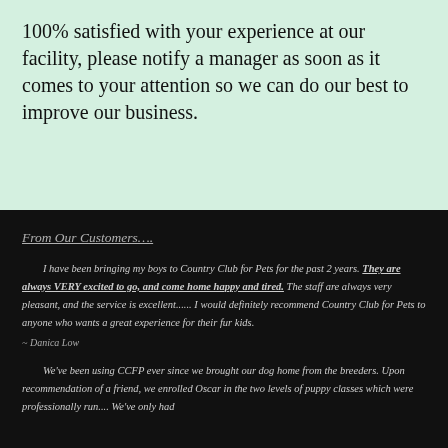100% satisfied with your experience at our facility, please notify a manager as soon as it comes to your attention so we can do our best to improve our business.
From Our Customers….
I have been bringing my boys to Country Club for Pets for the past 2 years. They are always VERY excited to go, and come home happy and tired. The staff are always very pleasant, and the service is excellent...... I would definitely recommend Country Club for Pets to anyone who wants a great experience for their fur kids.
~ Danica Low
We've been using CCFP ever since we brought our dog home from the breeders. Upon recommendation of a friend, we enrolled Oscar in the two levels of puppy classes which were professionally run.... We've only had